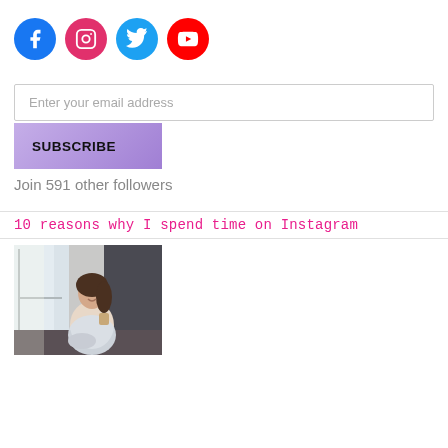[Figure (illustration): Row of four social media icon circles: Facebook (blue), Instagram (pink/magenta), Twitter (light blue), YouTube (red)]
Enter your email address
SUBSCRIBE
Join 591 other followers
10 reasons why I spend time on Instagram
[Figure (photo): A young woman sitting by a window, smiling, holding a cup. Soft natural light.]